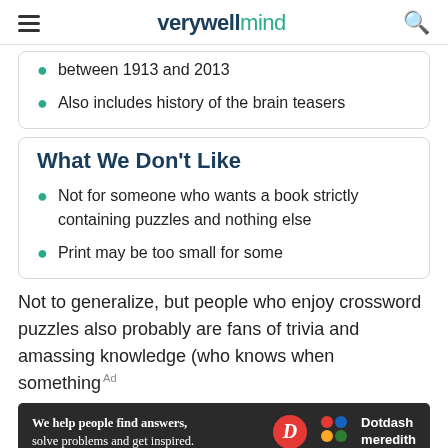verywellmind
between 1913 and 2013
Also includes history of the brain teasers
What We Don't Like
Not for someone who wants a book strictly containing puzzles and nothing else
Print may be too small for some
Not to generalize, but people who enjoy crossword puzzles also probably are fans of trivia and amassing knowledge (who knows when something
[Figure (infographic): Dotdash Meredith advertisement banner: 'We help people find answers, solve problems and get inspired.' with D logo and colorful dots logo]